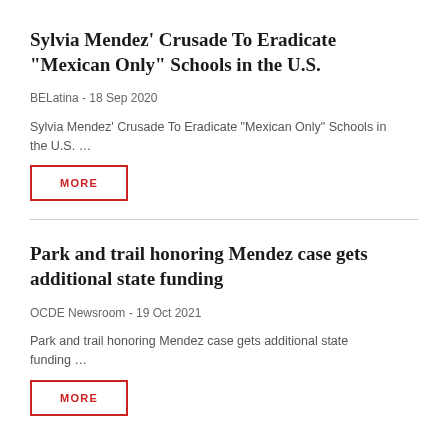Sylvia Mendez' Crusade To Eradicate “Mexican Only” Schools in the U.S.
BELatina - 18 Sep 2020
Sylvia Mendez’ Crusade To Eradicate “Mexican Only” Schools in the U.S. …
MORE
Park and trail honoring Mendez case gets additional state funding
OCDE Newsroom - 19 Oct 2021
Park and trail honoring Mendez case gets additional state funding …
MORE